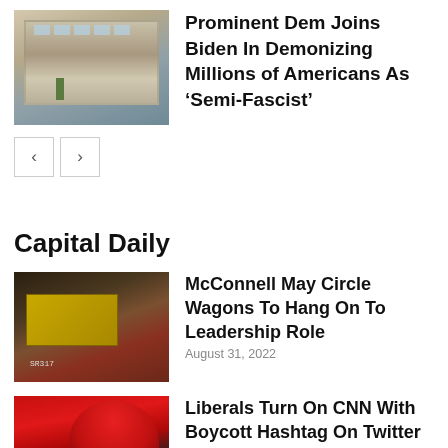[Figure (photo): Photo of a building exterior with trees]
Prominent Dem Joins Biden In Demonizing Millions of Americans As ‘Semi-Fascist’
Capital Daily
[Figure (photo): Photo of Mitch McConnell nameplate on door SR317]
McConnell May Circle Wagons To Hang On To Leadership Role
August 31, 2022
[Figure (photo): Photo of person wearing red hat from behind]
Liberals Turn On CNN With Boycott Hashtag On Twitter